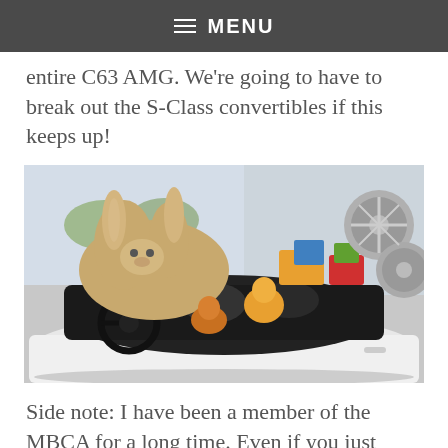≡ MENU
entire C63 AMG. We're going to have to break out the S-Class convertibles if this keeps up!
[Figure (photo): A white convertible Mercedes-Benz car filled with stuffed animals and toys, including a large plush dog/rabbit on the trunk, photographed inside a dealership showroom with alloy wheels visible on the wall in the background.]
Side note: I have been a member of the MBCA for a long time. Even if you just subscribe to get The Star